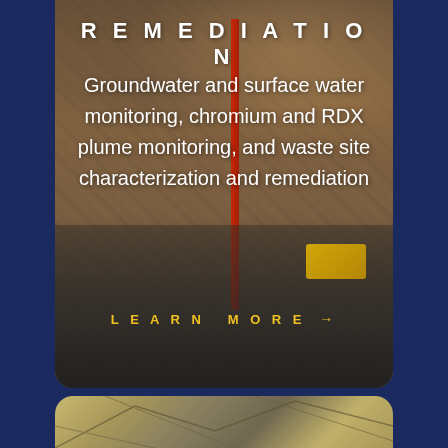[Figure (photo): Photograph of a remediation site with drilling equipment, red crane, yellow machinery, trucks, and rocky terrain in the background. Text overlay with white title 'REMEDIATION' and descriptive text, plus a yellow 'LEARN MORE →' link.]
REMEDIATION
Groundwater and surface water monitoring, chromium and RDX plume monitoring, and waste site characterization and remediation
LEARN MORE →
[Figure (map): Partial view of a map or diagram with geometric lines on a tan/golden background, visible at the bottom of the page.]